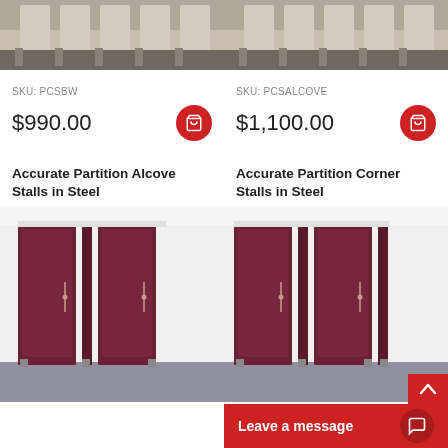[Figure (photo): Top portion of bathroom partition product (beige/tan color), left column]
SKU: PCSBW
$990.00
[Figure (photo): Top portion of bathroom partition product (beige/tan color), right column]
SKU: PCSALCOVE
$1,100.00
Accurate Partition Alcove Stalls in Steel
Accurate Partition Corner Stalls in Steel
[Figure (photo): Dark red/burgundy steel bathroom partition alcove stalls]
[Figure (photo): Dark red/burgundy steel bathroom partition corner stalls]
Leave a message